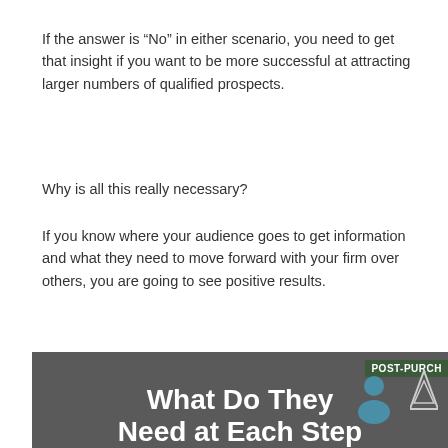If the answer is “No” in either scenario, you need to get that insight if you want to be more successful at attracting larger numbers of qualified prospects.
Why is all this really necessary?
If you know where your audience goes to get information and what they need to move forward with your firm over others, you are going to see positive results.
[Figure (infographic): Dark grey infographic panel with label 'POST-PURCH' in top right corner, large white bold text reading 'What Do They Need at Each Step', and a teal person icon with a triangle icon on the right side.]